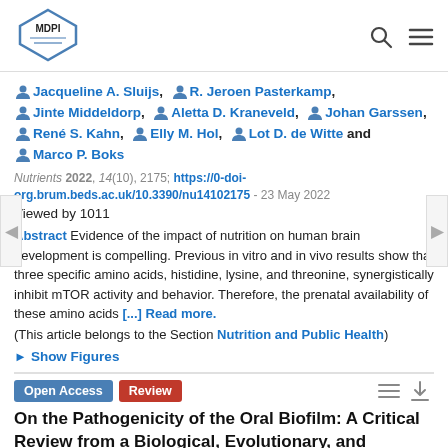[Figure (logo): MDPI logo in top left corner with hexagon shape]
Jacqueline A. Sluijs, R. Jeroen Pasterkamp, Jinte Middeldorp, Aletta D. Kraneveld, Johan Garssen, René S. Kahn, Elly M. Hol, Lot D. de Witte and Marco P. Boks
Nutrients 2022, 14(10), 2175; https://0-doi-org.brum.beds.ac.uk/10.3390/nu14102175 - 23 May 2022
Viewed by 1011
Abstract Evidence of the impact of nutrition on human brain development is compelling. Previous in vitro and in vivo results show that three specific amino acids, histidine, lysine, and threonine, synergistically inhibit mTOR activity and behavior. Therefore, the prenatal availability of these amino acids [...] Read more.
(This article belongs to the Section Nutrition and Public Health)
► Show Figures
Open Access  Review
On the Pathogenicity of the Oral Biofilm: A Critical Review from a Biological, Evolutionary, and